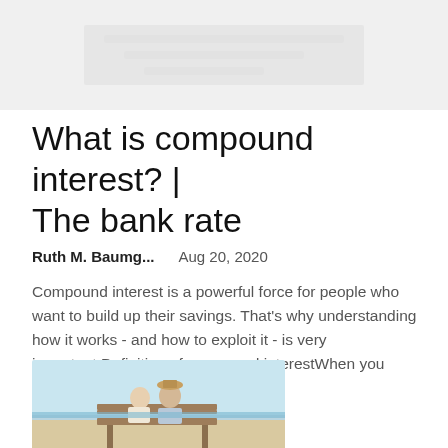[Figure (photo): Faded/blurred top banner image placeholder]
What is compound interest? | The bank rate
Ruth M. Baumg...    Aug 20, 2020
Compound interest is a powerful force for people who want to build up their savings. That's why understanding how it works - and how to exploit it - is very important.Definition of compound interestWhen you deposit money into a...
[Figure (photo): Photo of an elderly couple sitting on a bench viewed from behind, facing a beach scene]